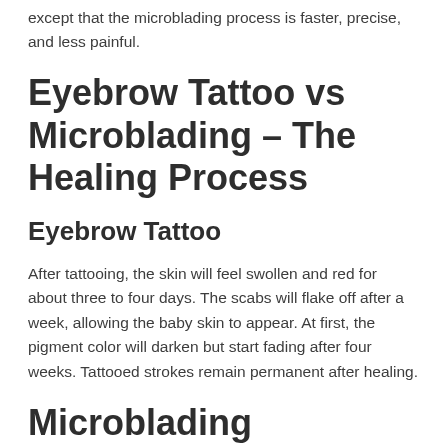except that the microblading process is faster, precise, and less painful.
Eyebrow Tattoo vs Microblading – The Healing Process
Eyebrow Tattoo
After tattooing, the skin will feel swollen and red for about three to four days. The scabs will flake off after a week, allowing the baby skin to appear. At first, the pigment color will darken but start fading after four weeks. Tattooed strokes remain permanent after healing.
Microblading